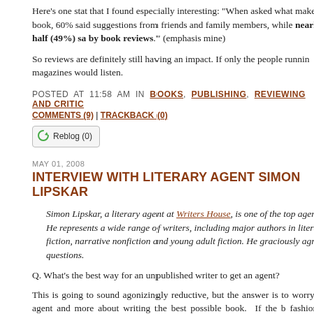Here's one stat that I found especially interesting: "When asked what makes them choose a book, 60% said suggestions from friends and family members, while nearly half (49%) said they were influenced by book reviews." (emphasis mine)
So reviews are definitely still having an impact. If only the people running these newspapers and magazines would listen.
POSTED AT 11:58 AM IN BOOKS, PUBLISHING, REVIEWING AND CRITICISM
COMMENTS (9) | TRACKBACK (0)
Reblog (0)
MAY 01, 2008
INTERVIEW WITH LITERARY AGENT SIMON LIPSKAR
Simon Lipskar, a literary agent at Writers House, is one of the top agents in the country. He represents a wide range of writers, including major authors in literary fiction, commercial fiction, narrative nonfiction and young adult fiction. He graciously agreed to answer my questions.
Q. What's the best way for an unpublished writer to get an agent?
This is going to sound agonizingly reductive, but the answer is to worry less about getting an agent and more about writing the best possible book. If the book is great, old fashioned queries (though hopefully with less paper waste via email submissions) are still the best way to garner interest. But don't bother looking until you're confident...